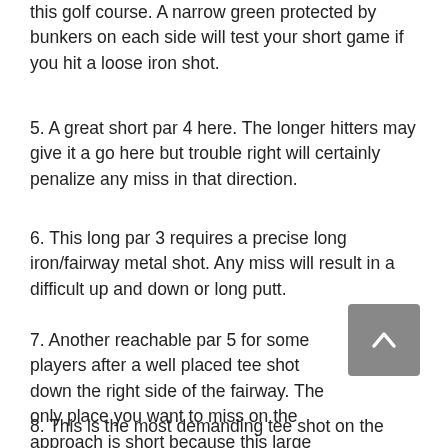this golf course. A narrow green protected by bunkers on each side will test your short game if you hit a loose iron shot.
5. A great short par 4 here. The longer hitters may give it a go here but trouble right will certainly penalize any miss in that direction.
6. This long par 3 requires a precise long iron/fairway metal shot. Any miss will result in a difficult up and down or long putt.
7. Another reachable par 5 for some players after a well placed tee shot down the right side of the fairway. The only place you want to miss on the approach is short because this large green is well protected by bunkers and rough.
8. This is the most demanding tee shot on the